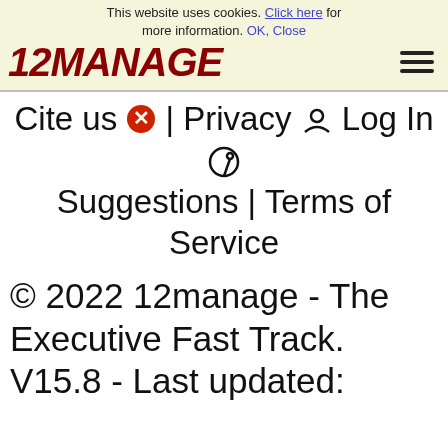This website uses cookies. Click here for more information. OK, Close
12MANAGE
Cite us | Privacy | Log In | Suggestions | Terms of Service
© 2022 12manage - The Executive Fast Track. V15.8 - Last updated: